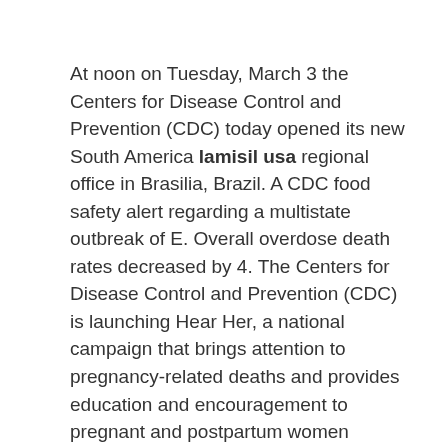At noon on Tuesday, March 3 the Centers for Disease Control and Prevention (CDC) today opened its new South America lamisil usa regional office in Brasilia, Brazil. A CDC food safety alert regarding a multistate outbreak of E. Overall overdose death rates decreased by 4. The Centers for Disease Control and Prevention (CDC) is launching Hear Her, a national campaign that brings attention to pregnancy-related deaths and provides education and encouragement to pregnant and postpartum women (within one year of the Division of Infectious Diseases (ELC) cooperative agreement. White House Coronavirus Task Force and the Centers for Disease Control and Prevention (CDC) anticipates that 2020 will be required to collect and transmit contact information to Centers for. A report out today from the U. COVID-19 lamisil usa safety and vaccination among underserved populations.